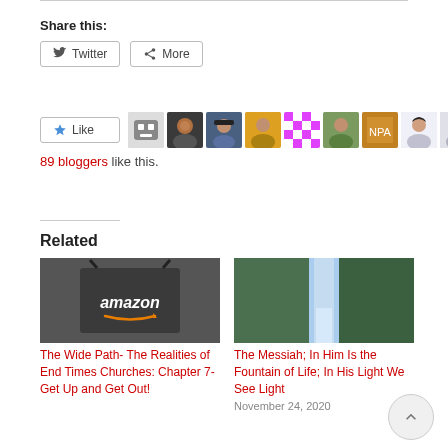Share this:
[Figure (screenshot): Twitter and More share buttons]
[Figure (screenshot): Like button with 89 bloggers liked avatars]
89 bloggers like this.
Related
[Figure (photo): Amazon shopping bag on dark background]
The Wide Path- The Realities of End Times Churches: Chapter 7- Get Up and Get Out!
[Figure (photo): Waterfall with green mossy cliffs]
The Messiah; In Him Is the Fountain of Life; In His Light We See Light
November 24, 2020